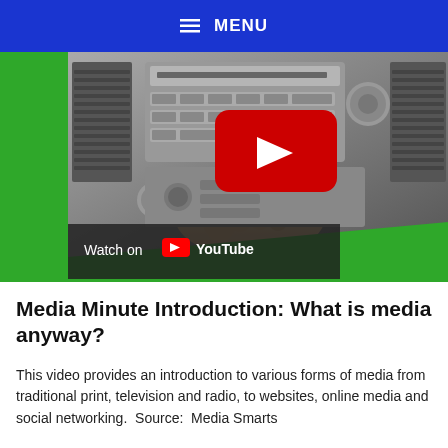MENU
[Figure (screenshot): YouTube video thumbnail showing a person's hand adjusting a car radio/stereo dashboard, with a YouTube play button overlay in the center and a 'Watch on YouTube' bar at the bottom.]
Media Minute Introduction: What is media anyway?
This video provides an introduction to various forms of media from traditional print, television and radio, to websites, online media and social networking.  Source:  Media Smarts